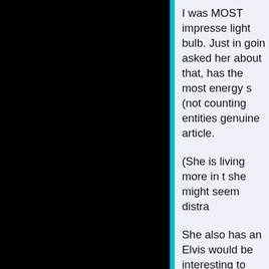[Figure (other): Black panel on the left side of the page]
I was MOST impresse light bulb. Just in goin asked her about that, has the most energy s (not counting entities genuine article.

(She is living more in t she might seem distra

She also has an Elvis would be interesting to being, or whether the

She is the head of "Th Irelan and many magickal p
Scroll to Top